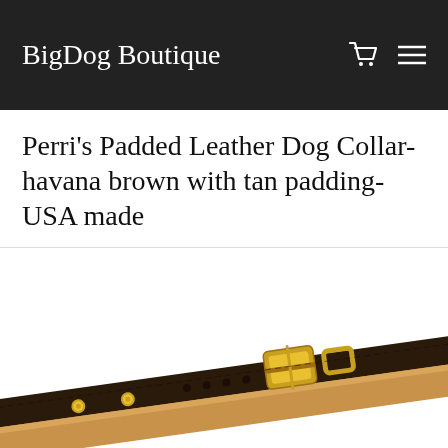BigDog Boutique
Perri's Padded Leather Dog Collar- havana brown with tan padding- USA made
[Figure (photo): Close-up photo of a dark havana brown padded leather dog collar with tan interior padding and gold-tone metal buckle and studs, shown at an angle against a white background.]